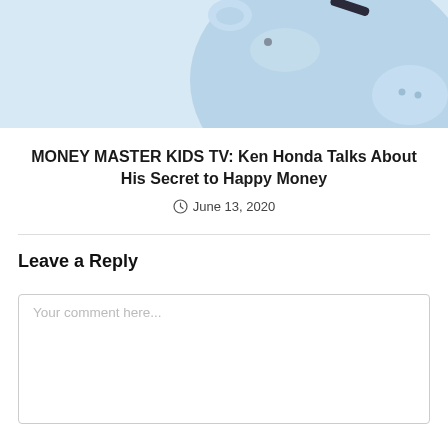[Figure (photo): Close-up photo of a light blue piggy bank on a light blue background, showing the top and right side of the piggy bank with its coin slot visible.]
MONEY MASTER KIDS TV: Ken Honda Talks About His Secret to Happy Money
June 13, 2020
Leave a Reply
Your comment here...